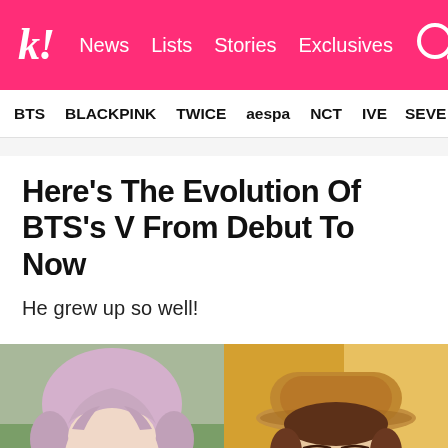k! News Lists Stories Exclusives
BTS BLACKPINK TWICE aespa NCT IVE SEVE
Here's The Evolution Of BTS's V From Debut To Now
He grew up so well!
[Figure (photo): Two side-by-side photos of BTS member V: left photo shows him with pink/lavender hair, pouty expression, close-up face shot; right photo shows him wearing a tan/brown hat, warm amber tones, handsome mature look]